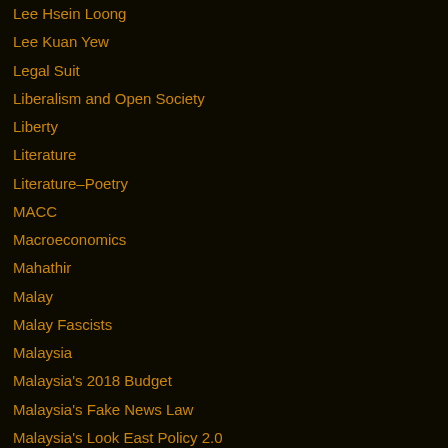Lee Hsein Loong
Lee Kuan Yew
Legal Suit
Liberalism and Open Society
Liberty
Literature
Literature–Poetry
MACC
Macroeconomics
Mahathir
Malay
Malay Fascists
Malaysia
Malaysia's 2018 Budget
Malaysia's Fake News Law
Malaysia's Look East Policy 2.0
Malaysia's National Budget 2018
Malaysia-Cambodia Relations
Malaysia-US Relations
Malaysiakini
Malaysian Budget 2018